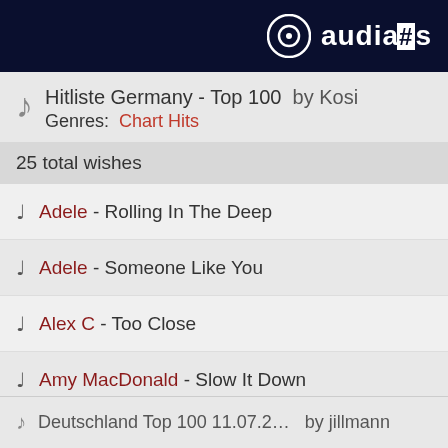audiarts
Hitliste Germany - Top 100 by Kosi
Genres: Chart Hits
25 total wishes
Adele - Rolling In The Deep
Adele - Someone Like You
Alex C - Too Close
Amy MacDonald - Slow It Down
An Tagen wie diesen - Tage Wie Diese
Deutschland Top 100 11.07.2… by jillmann